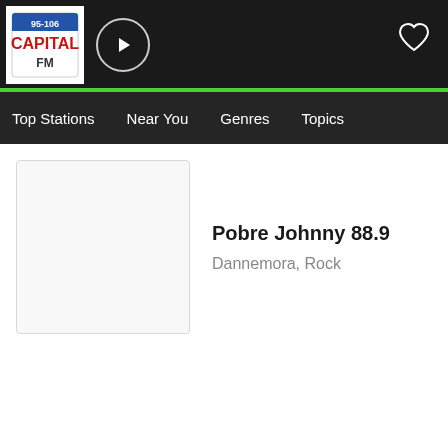[Figure (logo): Capital FM 95-106 radio logo in header bar with play button and heart icon]
Top Stations   Near You   Genres   Topics
[Figure (screenshot): Blank white station thumbnail image]
Pobre Johnny 88.9
Dannemora, Rock